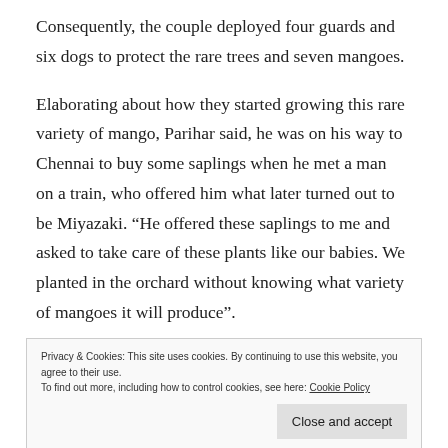Consequently, the couple deployed four guards and six dogs to protect the rare trees and seven mangoes.
Elaborating about how they started growing this rare variety of mango, Parihar said, he was on his way to Chennai to buy some saplings when he met a man on a train, who offered him what later turned out to be Miyazaki. “He offered these saplings to me and asked to take care of these plants like our babies. We planted in the orchard without knowing what variety of mangoes it will produce”.
Privacy & Cookies: This site uses cookies. By continuing to use this website, you agree to their use.
To find out more, including how to control cookies, see here: Cookie Policy
Sankalp has named the mangoes Damini, after the name